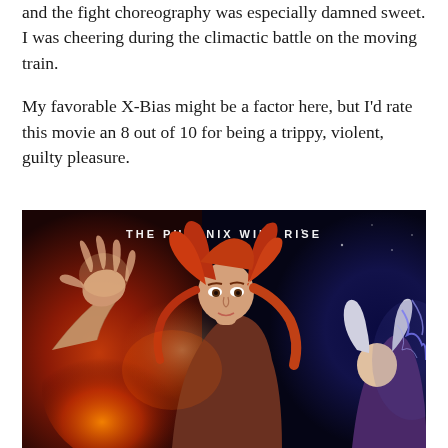and the fight choreography was especially damned sweet. I was cheering during the climactic battle on the moving train.
My favorable X-Bias might be a factor here, but I'd rate this movie an 8 out of 10 for being a trippy, violent, guilty pleasure.
[Figure (illustration): Movie poster for X-Men: Dark Phoenix showing a red-haired woman (Jean Grey/Phoenix) with her hand raised against a fiery red and blue background, with text 'THE PHOENIX WILL RISE' at the top. Another character with white/blonde hair is partially visible on the right side.]